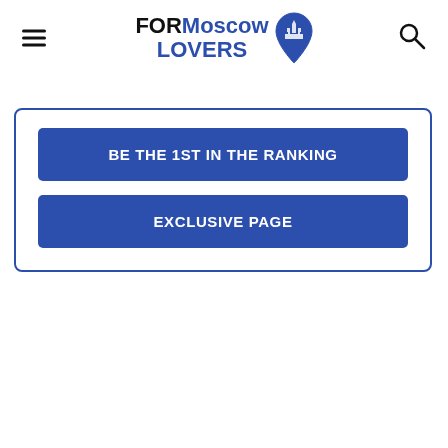FOR Moscow LOVERS
BE THE 1ST IN THE RANKING
EXCLUSIVE PAGE